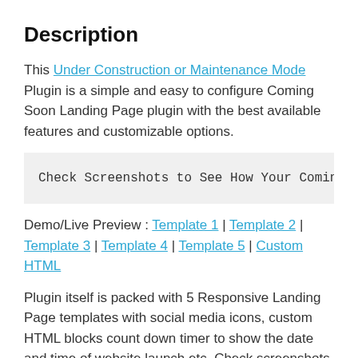Description
This Under Construction or Maintenance Mode Plugin is a simple and easy to configure Coming Soon Landing Page plugin with the best available features and customizable options.
Check Screenshots to See How Your Coming S
Demo/Live Preview : Template 1 | Template 2 | Template 3 | Template 4 | Template 5 | Custom HTML
Plugin itself is packed with 5 Responsive Landing Page templates with social media icons, custom HTML blocks count down timer to show the date and time of website launch etc. Check screenshots for a